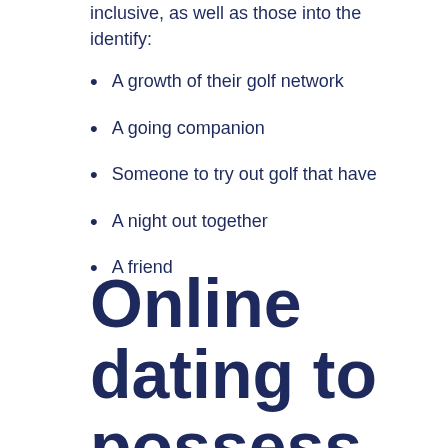inclusive, as well as those into the identify:
A growth of their golf network
A going companion
Someone to try out golf that have
A night out together
A friend
Online dating to possess